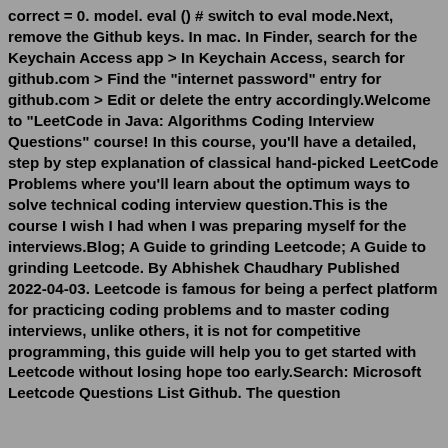correct = 0. model. eval () # switch to eval mode.Next, remove the Github keys. In mac. In Finder, search for the Keychain Access app > In Keychain Access, search for github.com > Find the "internet password" entry for github.com > Edit or delete the entry accordingly.Welcome to "LeetCode in Java: Algorithms Coding Interview Questions" course! In this course, you'll have a detailed, step by step explanation of classical hand-picked LeetCode Problems where you'll learn about the optimum ways to solve technical coding interview question.This is the course I wish I had when I was preparing myself for the interviews.Blog; A Guide to grinding Leetcode; A Guide to grinding Leetcode. By Abhishek Chaudhary Published 2022-04-03. Leetcode is famous for being a perfect platform for practicing coding problems and to master coding interviews, unlike others, it is not for competitive programming, this guide will help you to get started with Leetcode without losing hope too early.Search: Microsoft Leetcode Questions List Github. The questions...